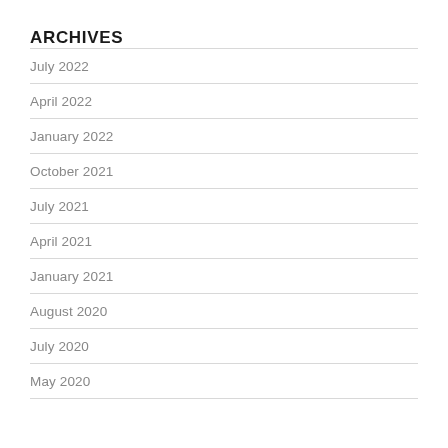ARCHIVES
July 2022
April 2022
January 2022
October 2021
July 2021
April 2021
January 2021
August 2020
July 2020
May 2020